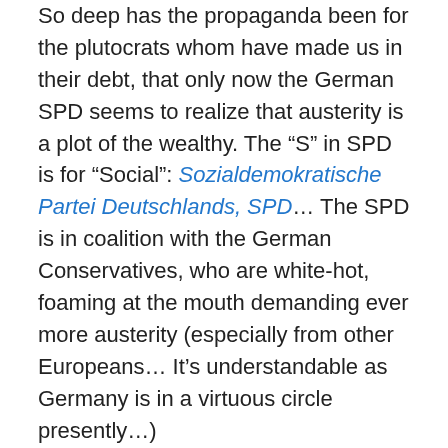So deep has the propaganda been for the plutocrats whom have made us in their debt, that only now the German SPD seems to realize that austerity is a plot of the wealthy. The “S” in SPD is for “Social”: Sozialdemokratische Partei Deutschlands, SPD… The SPD is in coalition with the German Conservatives, who are white-hot, foaming at the mouth demanding ever more austerity (especially from other Europeans… It’s understandable as Germany is in a virtuous circle presently…)
Brexit can potentially break that logjam. First, British sabotage of the “Ever Closer Union” will stop. Appropriate superstate structures could now be erected, as needed… Secondly, the austerity party in the EU, right now led by Britain and Germany, is going to be halved. Thus one can hope that the French, these austerity specialists since